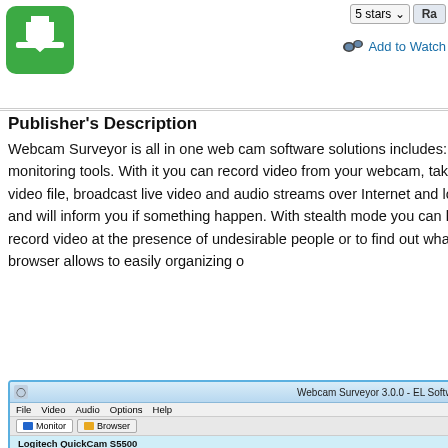[Figure (logo): Green app icon with white download arrow symbol]
5 stars  Ra...
Add to Watch...
Publisher's Description
Webcam Surveyor is all in one web cam software solutions includes: video surveillance, capture, video broadcasting and monitoring tools. With it you can record video from your webcam, take snapshots or record a sequence of snapshots into a video file, broadcast live video and audio streams over Internet and local network. Webcam Surveyor will help to track safety and will inform you if something happen. With stealth mode you can hide Webcam Surveyor on your computer. It's allows to record video at the presence of undesirable people or to find out what happens with your PC in your absence. The built-in browser allows to easily organizing o
| File Details |
| --- |
| File Size |
| License |
| Operating Sys... |
| Date Added |
| Total Downloa... |
| Publisher |
| Homepage |
[Figure (screenshot): Screenshot of Webcam Surveyor 3.0.0 - EL Software Solutions application window showing webcam feed of clouds, with menu bar (File, Video, Audio, Options, Help), Monitor and Browser tabs, and Logitech QuickCam S5500 camera label]